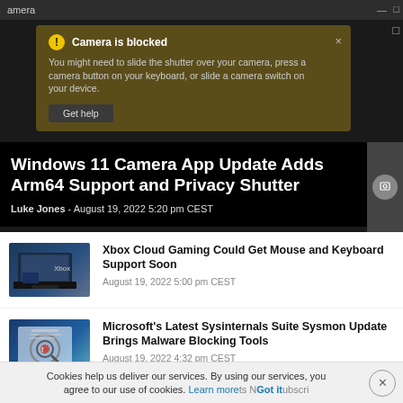[Figure (screenshot): Windows Camera app title bar with minimize and maximize controls]
[Figure (screenshot): Camera is blocked notification banner with warning icon and Get help button. Text: You might need to slide the shutter over your camera, press a camera button on your keyboard, or slide a camera switch on your device.]
Windows 11 Camera App Update Adds Arm64 Support and Privacy Shutter
Luke Jones - August 19, 2022 5:20 pm CEST
[Figure (screenshot): Xbox gaming thumbnail showing controller and screen]
Xbox Cloud Gaming Could Get Mouse and Keyboard Support Soon
August 19, 2022 5:00 pm CEST
[Figure (screenshot): Microsoft Sysinternals thumbnail with magnifier and bug icon]
Microsoft's Latest Sysinternals Suite Sysmon Update Brings Malware Blocking Tools
August 19, 2022 4:32 pm CEST
Cookies help us deliver our services. By using our services, you agree to our use of cookies. Learn more Got it